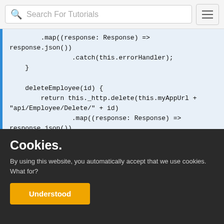Search For Tutorials
.map((response: Response) => response.json())
        .catch(this.errorHandler);
    }

    deleteEmployee(id) {
        return this._http.delete(this.myAppUrl + "api/Employee/Delete/" + id)
                .map((response: Response) => response.json())
                .catch(this.errorHandler);
Cookies.
By using this website, you automatically accept that we use cookies. What for?
Understood